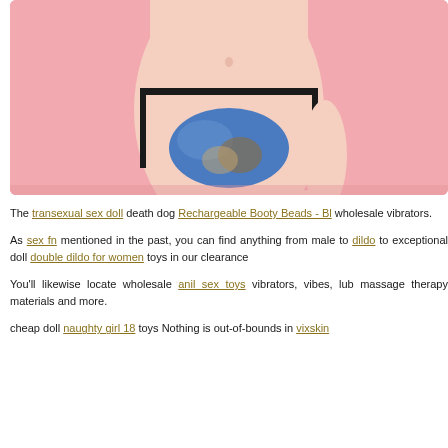[Figure (photo): A photo of a person's torso wearing patterned underwear against a pink background, cropped at top.]
The transexual sex doll death dog Rechargeable Booty Beads - Bl wholesale vibrators.
As sex fn mentioned in the past, you can find anything from male to dildo to exceptional doll double dildo for women toys in our clearance
You'll likewise locate wholesale anil sex toys vibrators, vibes, lub massage therapy materials and more.
cheap doll naughty girl 18 toys Nothing is out-of-bounds in vixskin